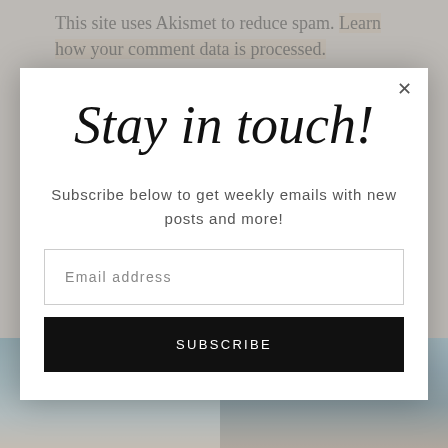This site uses Akismet to reduce spam. Learn how your comment data is processed.
[Figure (screenshot): Modal popup dialog on a website with background photos of people]
Stay in touch!
Subscribe below to get weekly emails with new posts and more!
Email address
SUBSCRIBE